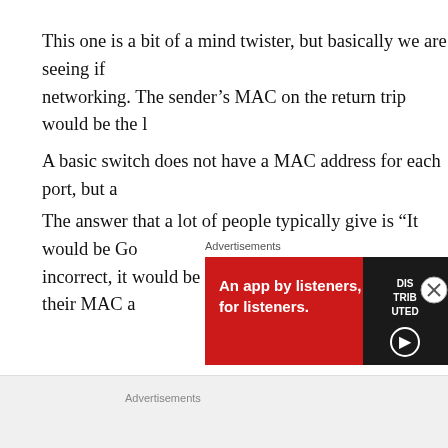This one is a bit of a mind twister, but basically we are seeing if networking. The sender's MAC on the return trip would be the l
A basic switch does not have a MAC address for each port, but a
The answer that a lot of people typically give is “It would be Go incorrect, it would be Google’s IP address, but not their MAC a
Advertisements
[Figure (infographic): Red advertisement banner reading 'An app by listeners, for listeners.' with a dark sidebar showing stacked text and a white circular icon]
We aren’t going to talk about load balancers or any other type o experiment question, rather than a network architecture question explanation, but feel free to swap this with something more
Advertisements